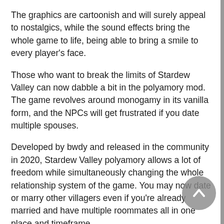The graphics are cartoonish and will surely appeal to nostalgics, while the sound effects bring the whole game to life, being able to bring a smile to every player's face.
Those who want to break the limits of Stardew Valley can now dabble a bit in the polyamory mod. The game revolves around monogamy in its vanilla form, and the NPCs will get frustrated if you date multiple spouses.
Developed by bwdy and released in the community in 2020, Stardew Valley polyamory allows a lot of freedom while simultaneously changing the whole relationship system of the game. You may now date or marry other villagers even if you're already married and have multiple roommates all in one place and timeframe.
The Stardew Valley polyamory system also brought several new options for romance because there are now more NPC that can be dated. If you get tired of one or more of your spouses, you have access to an amicable or intricate divorce system to get rid of them.
In the Stardew Valley polyamory mod, your bed can get bigger,